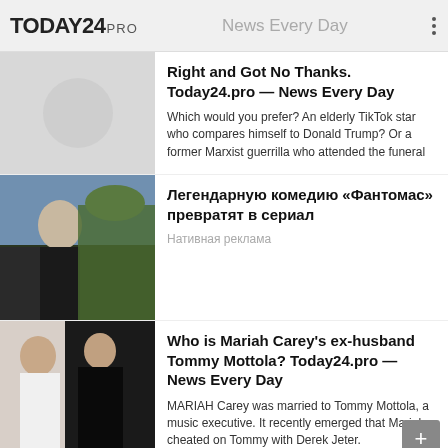TODAY24 PRO — News Every Day
Right and Got No Thanks. Today24.pro — News Every Day
Which would you prefer? An elderly TikTok star who compares himself to Donald Trump? Or a former Marxist guerrilla who attended the funeral
[Figure (photo): Placeholder thumbnail with circle]
Легендарную комедию «Фантомас» превратят в сериал
Нативная реклама
[Figure (photo): Photo of a man in dark suit with palm tree in background]
Who is Mariah Carey's ex-husband Tommy Mottola? Today24.pro — News Every Day
MARIAH Carey was married to Tommy Mottola, a music executive. It recently emerged that Mariah cheated on Tommy with Derek Jeter.
[Figure (photo): Photo of couple, woman in white dress and man in tuxedo]